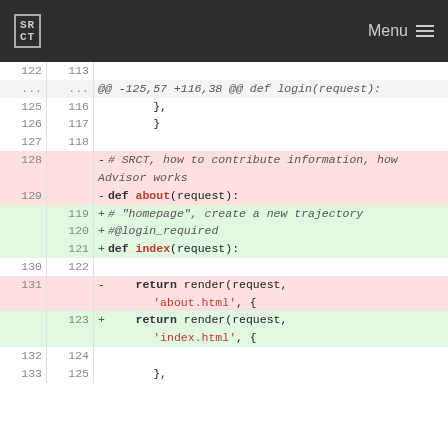SRCT  Menu
[Figure (screenshot): Code diff view showing changes between lines 122-133 (old) and 113-125 (new). Removed lines include a comment about SRCT and def about(request), added lines include a comment about homepage create a new trajectory, #@login_required, and def index(request). Also shows return render calls changing from about.html to index.html.]